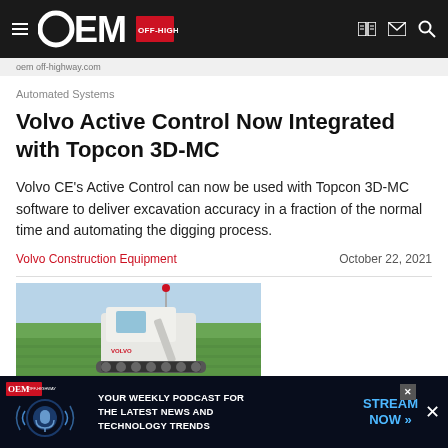OEM OFF-HIGHWAY
Automated Systems
Volvo Active Control Now Integrated with Topcon 3D-MC
Volvo CE's Active Control can now be used with Topcon 3D-MC software to deliver excavation accuracy in a fraction of the normal time and automating the digging process.
Volvo Construction Equipment    October 22, 2021
[Figure (photo): Aerial or elevated view of a Volvo excavator or construction machine operating in a green agricultural or construction field landscape.]
Automated Systems
[Figure (infographic): OEM Off-Highway podcast advertisement banner: YOUR WEEKLY PODCAST FOR THE LATEST NEWS AND TECHNOLOGY TRENDS — STREAM NOW]